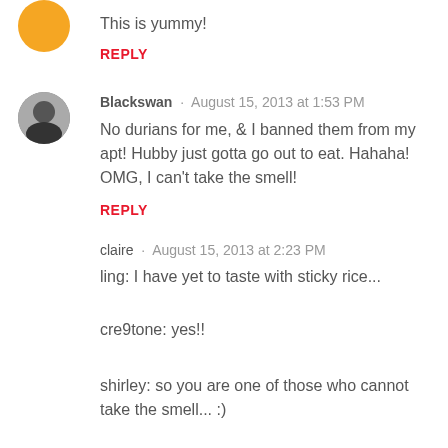This is yummy!
REPLY
Blackswan · August 15, 2013 at 1:53 PM
No durians for me, & I banned them from my apt! Hubby just gotta go out to eat. Hahaha! OMG, I can't take the smell!
REPLY
claire · August 15, 2013 at 2:23 PM
ling: I have yet to taste with sticky rice...
cre9tone: yes!!
shirley: so you are one of those who cannot take the smell... :)